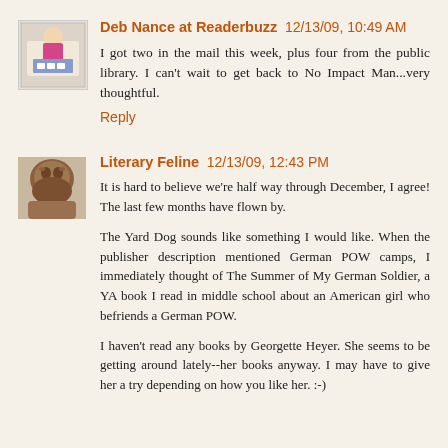Deb Nance at Readerbuzz  12/13/09, 10:49 AM
I got two in the mail this week, plus four from the public library. I can't wait to get back to No Impact Man...very thoughtful.
Reply
Literary Feline  12/13/09, 12:43 PM
It is hard to believe we're half way through December, I agree! The last few months have flown by.
The Yard Dog sounds like something I would like. When the publisher description mentioned German POW camps, I immediately thought of The Summer of My German Soldier, a YA book I read in middle school about an American girl who befriends a German POW.
I haven't read any books by Georgette Heyer. She seems to be getting around lately--her books anyway. I may have to give her a try depending on how you like her. :-)